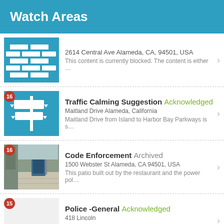Watch Areas
2614 Central Ave Alameda, CA, 94501, USA
This content is currently blocked. The content is either …
Traffic Calming Suggestion Acknowledged
Maitland Drive Alameda, California
Maitland Drive from Island to Harbor Bay Parkways is s…
Code Enforcement Archived
1500 Webster St Alameda, CA 94501, USA
This patio built out by the restaurant and the power pol…
Police -General Acknowledged
418 Lincoln
Stolen bikes ready to be stripped down, stolen shoppin…